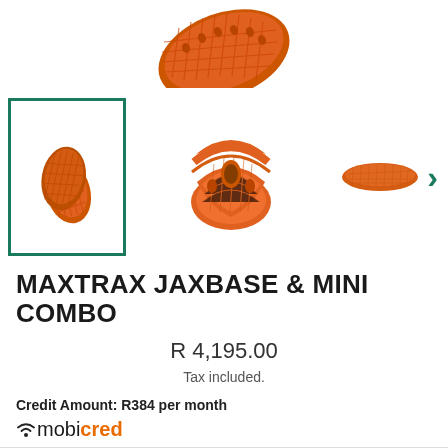[Figure (photo): Orange Maxtrax traction boards product image at top of page, partially cropped]
[Figure (photo): Thumbnail strip showing three product images: first thumbnail selected with green border showing two small orange traction boards, second showing rolled/curved orange traction boards, third showing flat single orange board. Green chevron arrow on right for next image.]
MAXTRAX JAXBASE & MINI COMBO
R 4,195.00
Tax included.
Credit Amount: R384 per month
[Figure (logo): Mobicred logo with wifi signal icon and text mobicred where cred is orange bold]